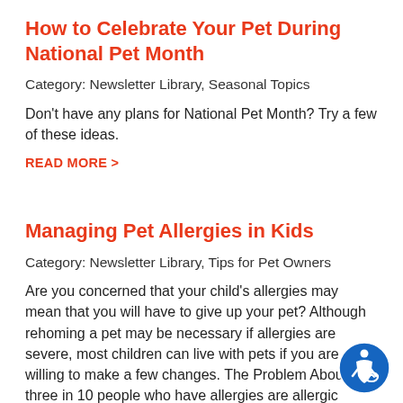How to Celebrate Your Pet During National Pet Month
Category: Newsletter Library, Seasonal Topics
Don't have any plans for National Pet Month? Try a few of these ideas.
READ MORE >
Managing Pet Allergies in Kids
Category: Newsletter Library, Tips for Pet Owners
Are you concerned that your child's allergies may mean that you will have to give up your pet? Although rehoming a pet may be necessary if allergies are severe, most children can live with pets if you are willing to make a few changes. The Problem About three in 10 people who have allergies are allergic